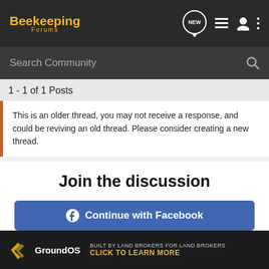Beekeeping Forums
Search Community
1 - 1 of 1 Posts
This is an older thread, you may not receive a response, and could be reviving an old thread. Please consider creating a new thread.
Join the discussion
Continue with Facebook
Continue with Google
or sign up with email
[Figure (screenshot): GroundOS advertisement banner: BUILT BY LAND BROKERS FOR LAND BROKERS — CLICK TO LEARN MORE]